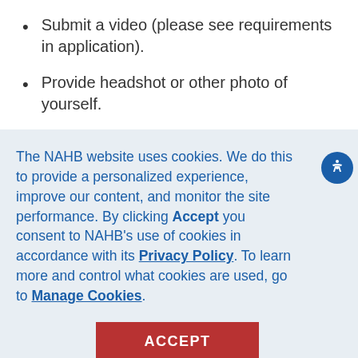Submit a video (please see requirements in application).
Provide headshot or other photo of yourself.
The NAHB website uses cookies. We do this to provide a personalized experience, improve our content, and monitor the site performance. By clicking Accept you consent to NAHB's use of cookies in accordance with its Privacy Policy. To learn more and control what cookies are used, go to Manage Cookies.